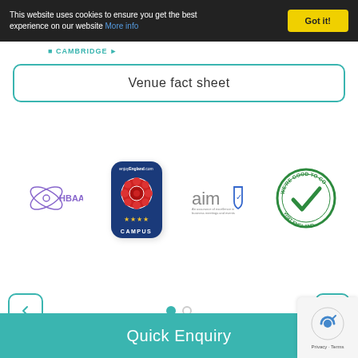This website uses cookies to ensure you get the best experience on our website More info
Venue fact sheet
[Figure (logo): HBAA logo - stylized orbit symbol with HBAA text in purple]
[Figure (logo): enjoyEngland.com 4-star Campus badge - blue card with red rose emblem and stars]
[Figure (logo): AIM logo with shield icon - An assurance of excellence in business meetings and events]
[Figure (logo): We're Good To Go - Visit England circular badge with green checkmark]
Quick Enquiry